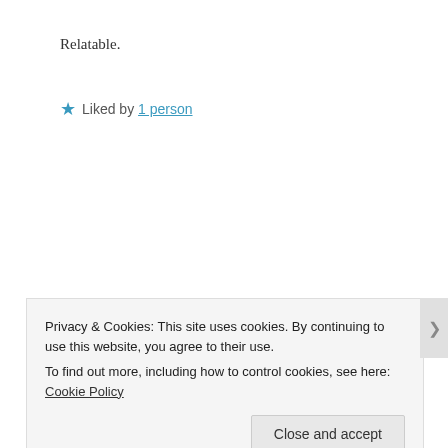Relatable.
★ Liked by 1 person
almerighi
August 13, 2019 at 10:00 am
Greetings from Italy
Privacy & Cookies: This site uses cookies. By continuing to use this website, you agree to their use.
To find out more, including how to control cookies, see here: Cookie Policy
Close and accept